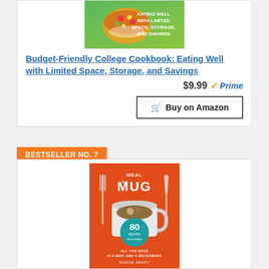[Figure (photo): Book cover of Budget-Friendly College Cookbook showing food dish with text 'Eating Well With Limited Space, Storage, and Savings' on green background]
Budget-Friendly College Cookbook: Eating Well with Limited Space, Storage, and Savings
$9.99 Prime
Buy on Amazon
BESTSELLER NO. 7
[Figure (photo): Book cover of Meal in a Mug: 80 Recipes, All You Need Is a Mug and a Microwave by Denise Smart, orange cover with mug image, fork and knife]